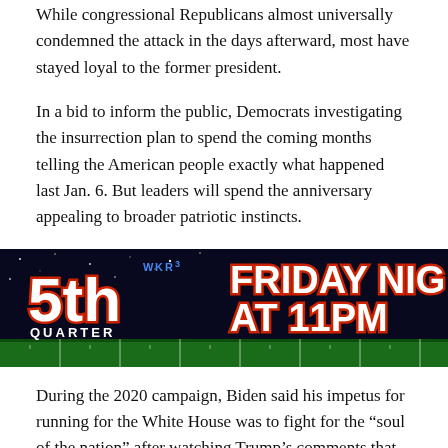While congressional Republicans almost universally condemned the attack in the days afterward, most have stayed loyal to the former president.
In a bid to inform the public, Democrats investigating the insurrection plan to spend the coming months telling the American people exactly what happened last Jan. 6. But leaders will spend the anniversary appealing to broader patriotic instincts.
[Figure (other): Advertisement banner for '5th Quarter' Friday Night at 11PM TV segment on a sports network, with football field background and red/white bold text on dark background.]
During the 2020 campaign, Biden said his impetus for running for the White House was to fight for the “soul of the nation” after watching Trump’s comments that some good people were among the white supremacists who marched in Charlottesville.